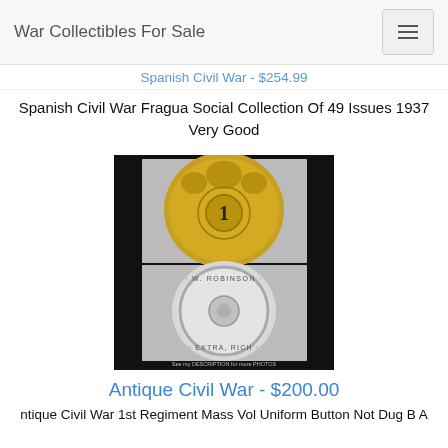War Collectibles For Sale
Spanish Civil War - $254.99
Spanish Civil War Fragua Social Collection Of 49 Issues 1937 Very Good
[Figure (photo): Photo of a military uniform button showing front (gold with embossed design and number 1) and back (silver with 'Robinson Extra' stamping), set against black background. Caption reads 'See my DESCRIPTION for more PHOTOS']
Antique Civil War - $200.00
ntique Civil War 1st Regiment Mass Vol Uniform Button Not Dug B A